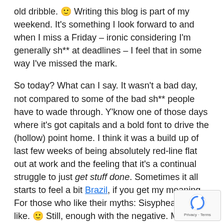old dribble. 🙂 Writing this blog is part of my weekend. It's something I look forward to and when I miss a Friday – ironic considering I'm generally sh** at deadlines – I feel that in some way I've missed the mark.
So today? What can I say. It wasn't a bad day, not compared to some of the bad sh** people have to wade through. Y'know one of those days where it's got capitals and a bold font to drive the (hollow) point home. I think it was a build up of last few weeks of being absolutely red-line flat out at work and the feeling that it's a continual struggle to just get stuff done. Sometimes it all starts to feel a bit Brazil, if you get my meaning. For those who like their myths: Sisyphean if you like. 🙂 Still, enough with the negative. Maybe my ego's out of joint and I'm tired. Tiredne as I've said before – seems to drive my mood mor anything else.
[Figure (other): reCAPTCHA badge with Privacy and Terms links in bottom right corner]